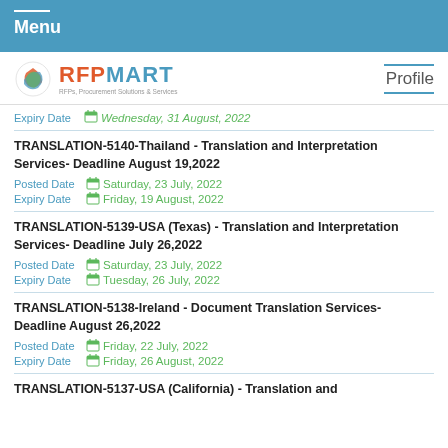Menu
[Figure (logo): RFPMART logo with tagline: RFPs, Procurement Solutions & Services]
Expiry Date   Wednesday, 31 August, 2022
TRANSLATION-5140-Thailand - Translation and Interpretation Services- Deadline August 19,2022
Posted Date: Saturday, 23 July, 2022
Expiry Date: Friday, 19 August, 2022
TRANSLATION-5139-USA (Texas) - Translation and Interpretation Services- Deadline July 26,2022
Posted Date: Saturday, 23 July, 2022
Expiry Date: Tuesday, 26 July, 2022
TRANSLATION-5138-Ireland - Document Translation Services- Deadline August 26,2022
Posted Date: Friday, 22 July, 2022
Expiry Date: Friday, 26 August, 2022
TRANSLATION-5137-USA (California) - Translation and